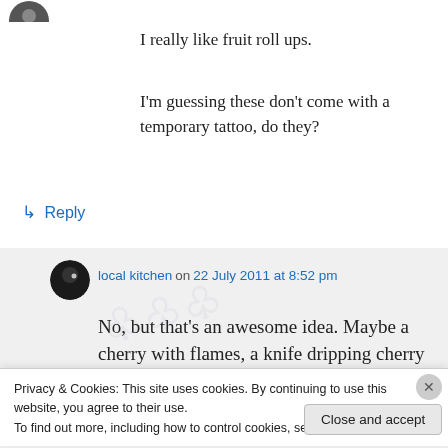[Figure (photo): Partial avatar image of a user at the top left]
I really like fruit roll ups.
I'm guessing these don't come with a temporary tattoo, do they?
↳ Reply
[Figure (photo): Round dark avatar for local kitchen commenter]
local kitchen on 22 July 2011 at 8:52 pm
No, but that's an awesome idea. Maybe a cherry with flames, a knife dripping cherry
Privacy & Cookies: This site uses cookies. By continuing to use this website, you agree to their use.
To find out more, including how to control cookies, see here: Cookie Policy
Close and accept